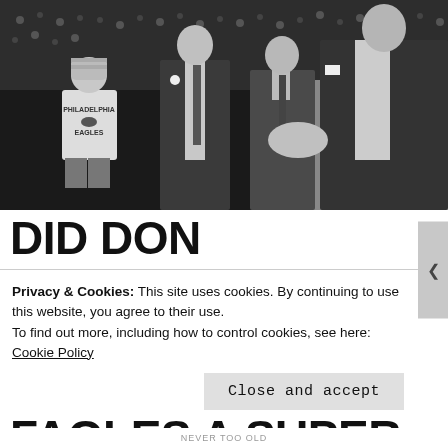[Figure (photo): Black and white photograph showing several men in suits, one appears to be shaking hands. A young person wearing a Philadelphia Eagles jersey and knit hat is visible in the background, along with stadium/crowd setting.]
DID DON RICKLES INADVERTENTLY COST THE EAGLES A SUPER BOWL
Privacy & Cookies: This site uses cookies. By continuing to use this website, you agree to their use.
To find out more, including how to control cookies, see here: Cookie Policy
Close and accept